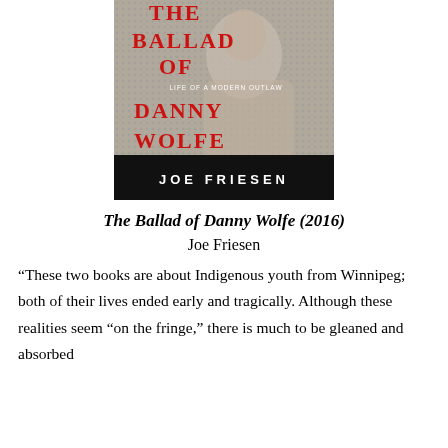[Figure (photo): Book cover of 'The Ballad of Danny Wolfe: Life of a Modern Outlaw' by Joe Friesen. Red distressed lettering on a halftone background showing a person's face.]
The Ballad of Danny Wolfe (2016)
Joe Friesen
“These two books are about Indigenous youth from Winnipeg; both of their lives ended early and tragically. Although these realities seem “on the fringe,” there is much to be gleaned and absorbed